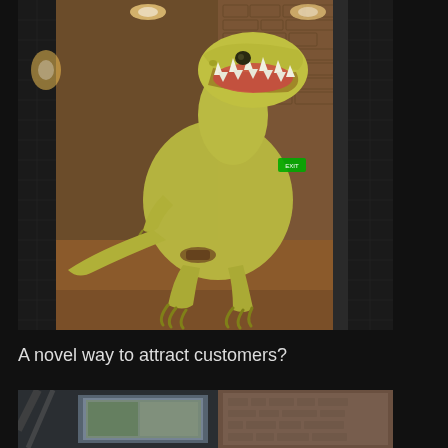[Figure (photo): A large T-Rex dinosaur model/statue standing in what appears to be a dimly lit restaurant or entertainment venue corridor. The dinosaur is yellowish-green with an open mouth showing teeth. The background shows textured stone walls and warm lighting.]
A novel way to attract customers?
[Figure (photo): A partial view of what appears to be an interior space with screens or windows, showing a blurry outdoor scene. The image is partially visible at the bottom of the page.]